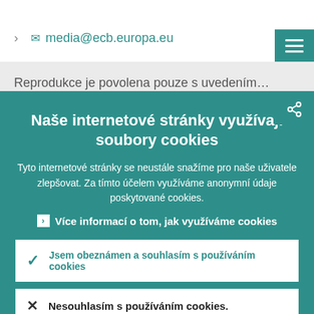> ✉ media@ecb.europa.eu
Reprodukce je povolena pouze s uvedením...
Naše internetové stránky využívají soubory cookies
Tyto internetové stránky se neustále snažíme pro naše uživatele zlepšovat. Za tímto účelem využíváme anonymní údaje poskytované cookies.
> Více informací o tom, jak využíváme cookies
✓ Jsem obeznámen a souhlasím s používáním cookies
✕ Nesouhlasím s používáním cookies.